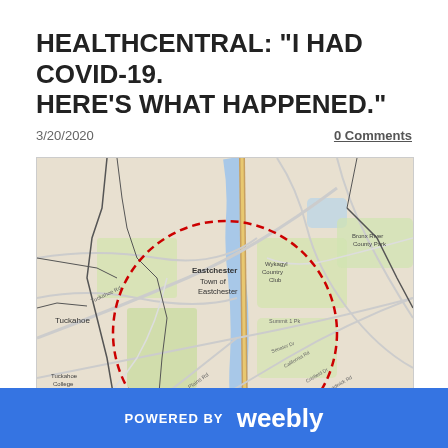HEALTHCENTRAL: "I HAD COVID-19. HERE'S WHAT HAPPENED."
3/20/2020
0 Comments
[Figure (map): Street map of Eastchester/Tuckahoe area in New York with a large red dashed circle highlighting a region around the Town of Eastchester.]
POWERED BY weebly